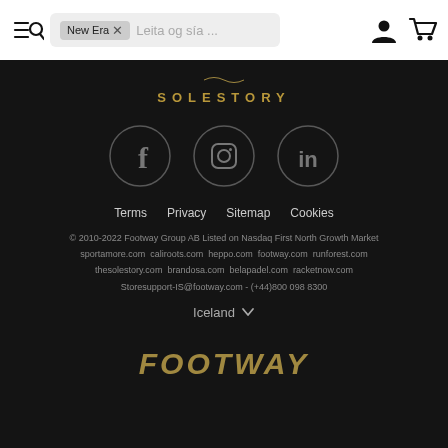New Era × Leita og sía ...
[Figure (logo): Solestory brand logo with decorative script and spaced lettering in gold]
[Figure (illustration): Three circular social media icons: Facebook (f), Instagram (camera), LinkedIn (in) with grey circle borders on dark background]
Terms  Privacy  Sitemap  Cookies
© 2010-2022 Footway Group AB Listed on Nasdaq First North Growth Market
sportamore.com  caliroots.com  heppo.com  footway.com  runforest.com
thesolestory.com  brandosa.com  belapadel.com  racketnow.com
Storesupport-IS@footway.com - (+44)800 098 8300
Iceland ˅
[Figure (logo): Footway brand logo in italic bold gold letters]